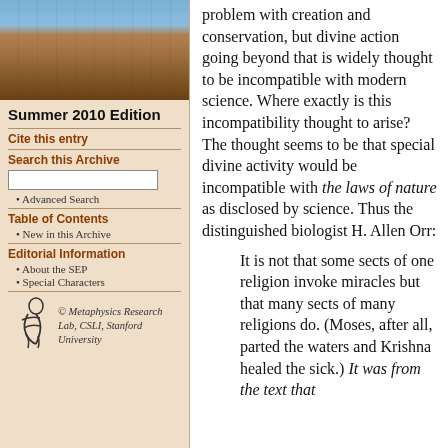[Figure (photo): Photograph of a university building (stone architecture) with blue sky and clouds]
Summer 2010 Edition
Cite this entry
Search this Archive
Advanced Search
Table of Contents
New in this Archive
Editorial Information
About the SEP
Special Characters
[Figure (logo): Metaphysics Research Lab logo with stylized figure]
© Metaphysics Research Lab, CSLI, Stanford University
problem with creation and conservation, but divine action going beyond that is widely thought to be incompatible with modern science. Where exactly is this incompatibility thought to arise? The thought seems to be that special divine activity would be incompatible with the laws of nature as disclosed by science. Thus the distinguished biologist H. Allen Orr:
It is not that some sects of one religion invoke miracles but that many sects of many religions do. (Moses, after all, parted the waters and Krishna healed the sick.) It was from the text that